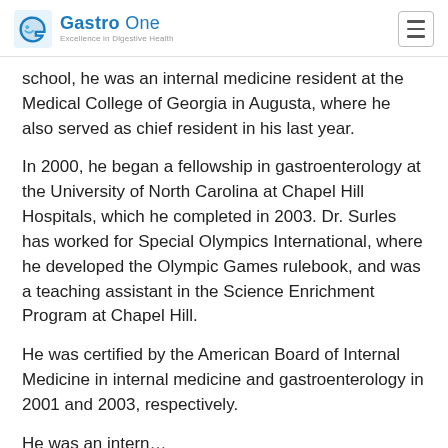Gastro One — Excellence in Digestive Health
school, he was an internal medicine resident at the Medical College of Georgia in Augusta, where he also served as chief resident in his last year.
In 2000, he began a fellowship in gastroenterology at the University of North Carolina at Chapel Hill Hospitals, which he completed in 2003. Dr. Surles has worked for Special Olympics International, where he developed the Olympic Games rulebook, and was a teaching assistant in the Science Enrichment Program at Chapel Hill.
He was certified by the American Board of Internal Medicine in internal medicine and gastroenterology in 2001 and 2003, respectively.
He was an intern…